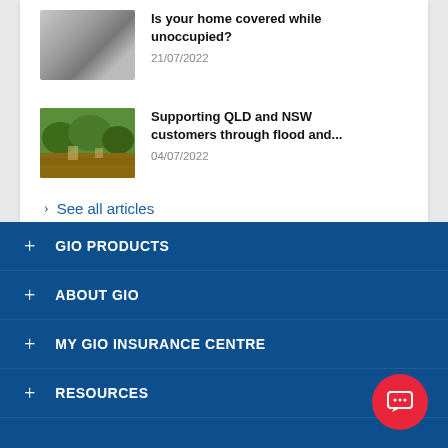[Figure (photo): Flood scene with flooded residential area, trees partially submerged in brown water]
Supporting QLD and NSW customers through flood and...
04/07/2022
> See all articles
+ GIO PRODUCTS
+ ABOUT GIO
+ MY GIO INSURANCE CENTRE
+ RESOURCES